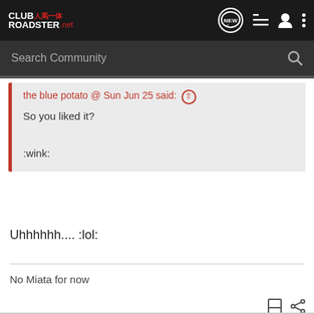CLUB人馬一体 ROADSTER.net — navigation header with search
the blue potato @ Sun Jun 25 said: ↑
So you liked it?

:wink:
Uhhhhhh.... :lol:
No Miata for now
Stealth97 · bad mother f